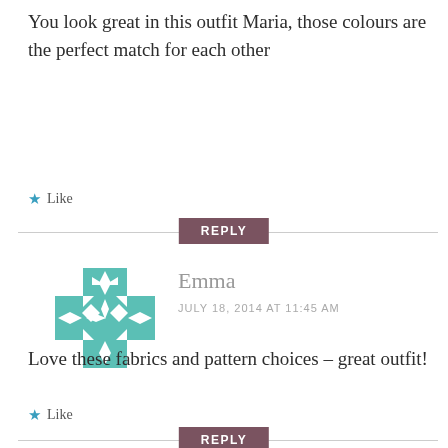You look great in this outfit Maria, those colours are the perfect match for each other
★ Like
REPLY
[Figure (logo): Teal geometric ornamental avatar icon with star/cross quilt pattern]
Emma
JULY 18, 2014 AT 11:45 AM
Love these fabrics and pattern choices – great outfit!
★ Like
REPLY